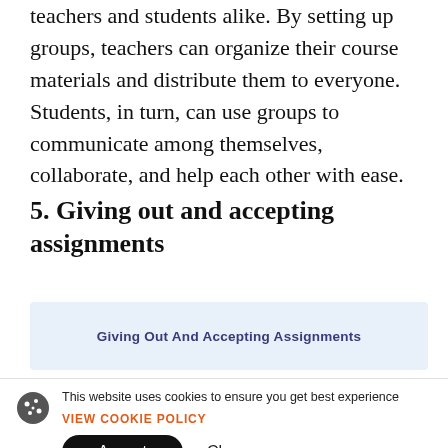teachers and students alike. By setting up groups, teachers can organize their course materials and distribute them to everyone. Students, in turn, can use groups to communicate among themselves, collaborate, and help each other with ease.
5. Giving out and accepting assignments
[Figure (screenshot): Light blue box with bold dark blue text reading 'Giving Out And Accepting Assignments']
This website uses cookies to ensure you get best experience
VIEW COOKIE POLICY
Accept   Close